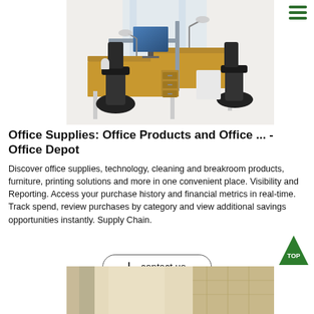[Figure (photo): Office workstation setup with two L-shaped desks, ergonomic chairs, monitors, and gray privacy dividers on white background]
Office Supplies: Office Products and Office ... - Office Depot
Discover office supplies, technology, cleaning and breakroom products, furniture, printing solutions and more in one convenient place. Visibility and Reporting. Access your purchase history and financial metrics in real-time. Track spend, review purchases by category and view additional savings opportunities instantly. Supply Chain.
[Figure (other): Contact us button with download icon and rounded border]
[Figure (photo): Partial view of an interior room with curtains and textured wall panels]